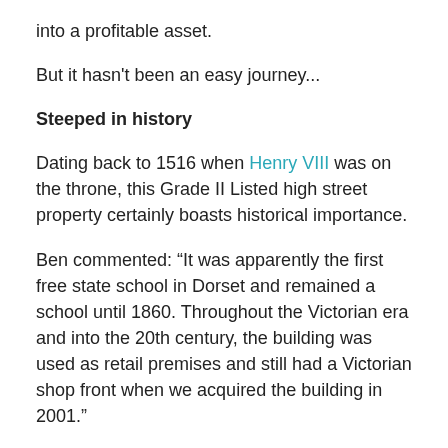into a profitable asset.
But it hasn't been an easy journey...
Steeped in history
Dating back to 1516 when Henry VIII was on the throne, this Grade II Listed high street property certainly boasts historical importance.
Ben commented: “It was apparently the first free state school in Dorset and remained a school until 1860. Throughout the Victorian era and into the 20th century, the building was used as retail premises and still had a Victorian shop front when we acquired the building in 2001.”
Following the closure of his business in 2008, Ben tried to both sell and rent the property, but it was a tough market. High streets up and down the country were dying and the financial crisis had halted growth or movement